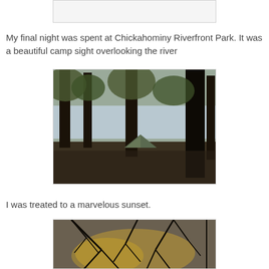[Figure (photo): Partial top portion of a photo, mostly white/light, cut off at top of page]
My final night was spent at Chickahominy Riverfront Park. It was a beautiful camp sight overlooking the river
[Figure (photo): A camping tent set among tall trees near a river or lake. The ground is bare dirt. Trees line the waterfront. A small tent is visible in the middle distance.]
I was treated to a marvelous sunset.
[Figure (photo): A dramatic sunset through bare tree branches, with dark silhouetted branches against a golden and grey sky.]